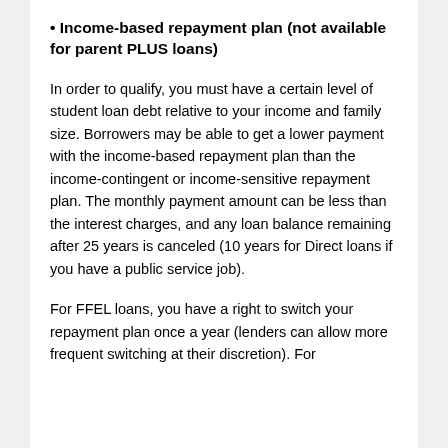• Income-based repayment plan (not available for parent PLUS loans)
In order to qualify, you must have a certain level of student loan debt relative to your income and family size. Borrowers may be able to get a lower payment with the income-based repayment plan than the income-contingent or income-sensitive repayment plan. The monthly payment amount can be less than the interest charges, and any loan balance remaining after 25 years is canceled (10 years for Direct loans if you have a public service job).
For FFEL loans, you have a right to switch your repayment plan once a year (lenders can allow more frequent switching at their discretion). For